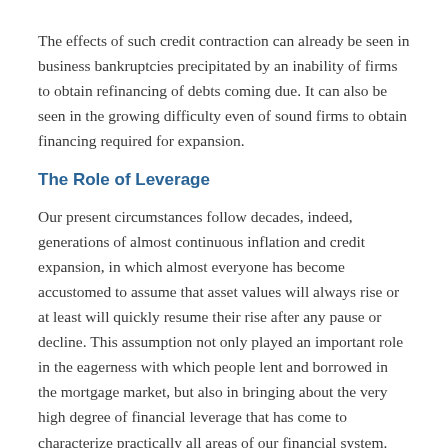The effects of such credit contraction can already be seen in business bankruptcies precipitated by an inability of firms to obtain refinancing of debts coming due. It can also be seen in the growing difficulty even of sound firms to obtain financing required for expansion.
The Role of Leverage
Our present circumstances follow decades, indeed, generations of almost continuous inflation and credit expansion, in which almost everyone has become accustomed to assume that asset values will always rise or at least will quickly resume their rise after any pause or decline. This assumption not only played an important role in the eagerness with which people lent and borrowed in the mortgage market, but also in bringing about the very high degree of financial leverage that has come to characterize practically all areas of our financial system. (Leverage is the use of borrowed funds to increase the returns that can be earned with a given sized capital. It equivalently